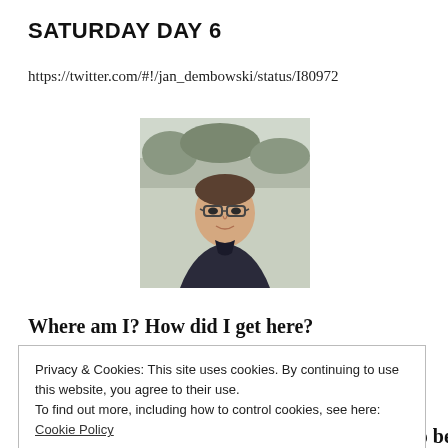SATURDAY DAY 6
https://twitter.com/#!/jan_dembowski/status/18097...
[Figure (photo): Headshot photo of a young man with glasses, wearing a dark jacket, outdoors with trees in background]
Where am I? How did I get here?
Privacy & Cookies: This site uses cookies. By continuing to use this website, you agree to their use.
To find out more, including how to control cookies, see here: Cookie Policy
harboring for me is intense. They can't seem to be